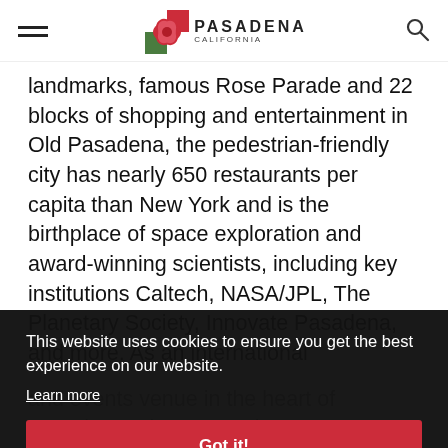Pasadena California
landmarks, famous Rose Parade and 22 blocks of shopping and entertainment in Old Pasadena, the pedestrian-friendly city has nearly 650 restaurants per capita than New York and is the birthplace of space exploration and award-winning scientists, including key institutions Caltech, NASA/JPL, The Planetary Society, Innovate Pasadena, and more. As an international
This website uses cookies to ensure you get the best experience on our website.
Learn more
Got it!
and events venue in the heart of Pasadena. The convention